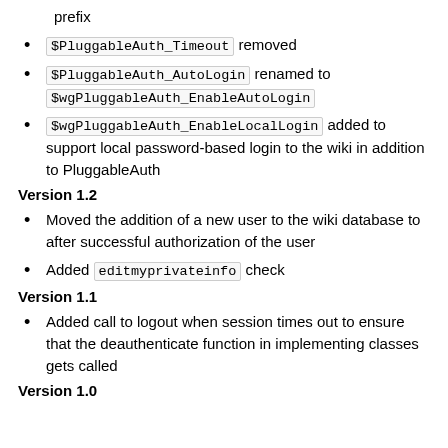prefix
$PluggableAuth_Timeout removed
$PluggableAuth_AutoLogin renamed to $wgPluggableAuth_EnableAutoLogin
$wgPluggableAuth_EnableLocalLogin added to support local password-based login to the wiki in addition to PluggableAuth
Version 1.2
Moved the addition of a new user to the wiki database to after successful authorization of the user
Added editmyprivateinfo check
Version 1.1
Added call to logout when session times out to ensure that the deauthenticate function in implementing classes gets called
Version 1.0